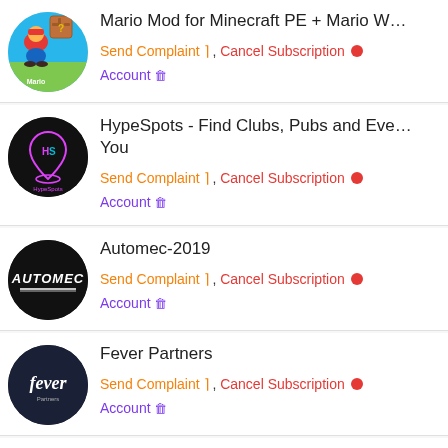Mario Mod for Minecraft PE + Mario W
Send Complaint , Cancel Subscription
Account
HypeSpots - Find Clubs, Pubs and Eve You
Send Complaint , Cancel Subscription
Account
Automec-2019
Send Complaint , Cancel Subscription
Account
Fever Partners
Send Complaint , Cancel Subscription
Account
Sky Wonder